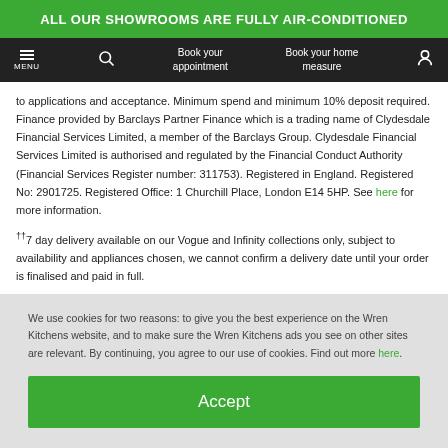ALL OUR SHOWROOMS ARE FULLY AIR-CONDITIONED
[Figure (screenshot): Navigation bar with hamburger menu, search icon, 'Book your appointment', 'Book your home measure', and person/account icon on dark background]
to applications and acceptance. Minimum spend and minimum 10% deposit required. Finance provided by Barclays Partner Finance which is a trading name of Clydesdale Financial Services Limited, a member of the Barclays Group. Clydesdale Financial Services Limited is authorised and regulated by the Financial Conduct Authority (Financial Services Register number: 311753). Registered in England. Registered No: 2901725. Registered Office: 1 Churchill Place, London E14 5HP. See here for more information.
††7 day delivery available on our Vogue and Infinity collections only, subject to availability and appliances chosen, we cannot confirm a delivery date until your order is finalised and paid in full.
We use cookies for two reasons: to give you the best experience on the Wren Kitchens website, and to make sure the Wren Kitchens ads you see on other sites are relevant. By continuing, you agree to our use of cookies. Find out more here.
Accept